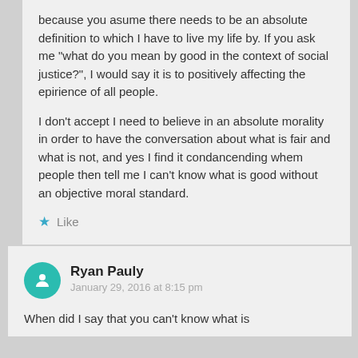because you asume there needs to be an absolute definition to which I have to live my life by. If you ask me "what do you mean by good in the context of social justice?", I would say it is to positively affecting the epirience of all people.

I don't accept I need to believe in an absolute morality in order to have the conversation about what is fair and what is not, and yes I find it condancending whem people then tell me I can't know what is good without an objective moral standard.
Like
Ryan Pauly
January 29, 2016 at 8:15 pm
When did I say that you can't know what is